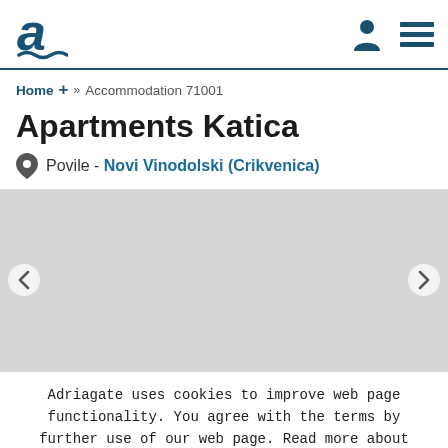Adriagate logo, user icon, menu icon
Home + » Accommodation 71001
Apartments Katica
Povile - Novi Vinodolski (Crikvenica)
[Figure (map): Map area showing location, with left and right navigation arrows]
Adriagate uses cookies to improve web page functionality. You agree with the terms by further use of our web page. Read more about cookies on:
Privacy Policy   Close